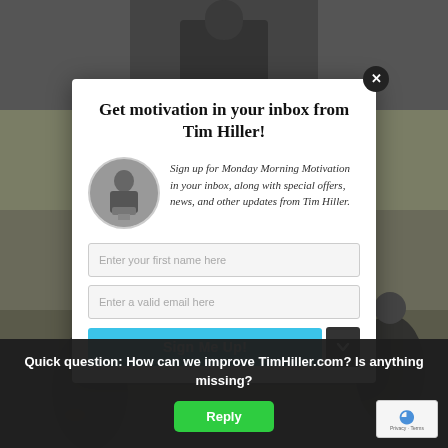[Figure (screenshot): Background screenshot of a webpage showing a person in a suit (top) and an outdoor football scene (bottom), partially obscured by a modal popup and dark feedback bar overlay.]
Get motivation in your inbox from Tim Hiller!
[Figure (photo): Circular avatar photo of Tim Hiller speaking at a podium, black and white]
Sign up for Monday Morning Motivation in your inbox, along with special offers, news, and other updates from Tim Hiller.
Enter your first name here
Enter a valid email here
Sign Me Up!
Quick question: How can we improve TimHiller.com? Is anything missing?
Reply